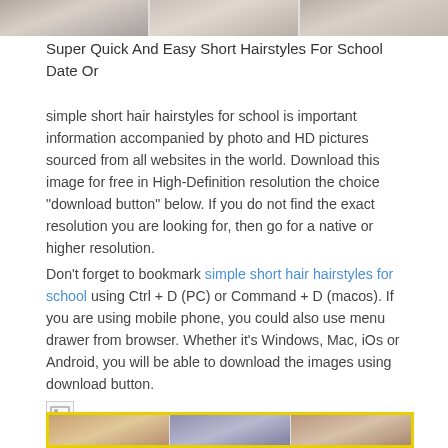[Figure (photo): Three partial portrait photos of women at the top of the page]
Super Quick And Easy Short Hairstyles For School Date Or
simple short hair hairstyles for school is important information accompanied by photo and HD pictures sourced from all websites in the world. Download this image for free in High-Definition resolution the choice "download button" below. If you do not find the exact resolution you are looking for, then go for a native or higher resolution.
Don't forget to bookmark simple short hair hairstyles for school using Ctrl + D (PC) or Command + D (macos). If you are using mobile phone, you could also use menu drawer from browser. Whether it's Windows, Mac, iOs or Android, you will be able to download the images using download button.
[Figure (photo): Broken image icon placeholder]
[Figure (photo): Three portrait photos of women in a yellow-bordered grid at the bottom of the page]